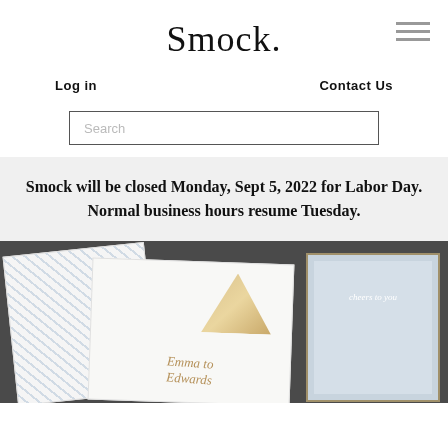Smock.
Log in
Contact Us
Search
Smock will be closed Monday, Sept 5, 2022 for Labor Day. Normal business hours resume Tuesday.
[Figure (photo): Photo of elegant wedding invitation suite showing patterned cards, gold foil details, and calligraphy on a dark background with a gold tray]